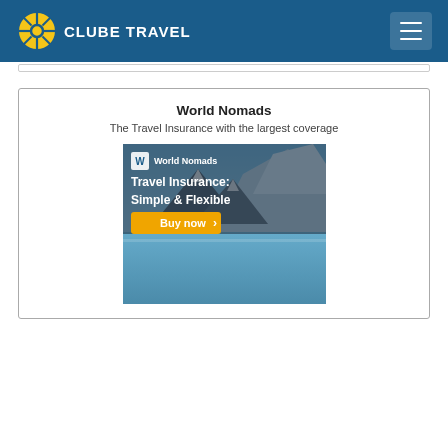CLUBE TRAVEL
World Nomads
The Travel Insurance with the largest coverage
[Figure (screenshot): World Nomads travel insurance advertisement banner showing 'Travel Insurance: Simple & Flexible' with a 'Buy now' button and mountain lake background]